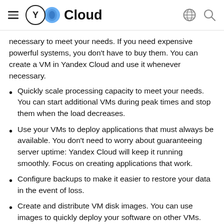Yandex Cloud
necessary to meet your needs. If you need expensive powerful systems, you don't have to buy them. You can create a VM in Yandex Cloud and use it whenever necessary.
Quickly scale processing capacity to meet your needs. You can start additional VMs during peak times and stop them when the load decreases.
Use your VMs to deploy applications that must always be available. You don't need to worry about guaranteeing server uptime: Yandex Cloud will keep it running smoothly. Focus on creating applications that work.
Configure backups to make it easier to restore your data in the event of loss.
Create and distribute VM disk images. You can use images to quickly deploy your software on other VMs.
Automate VM management using the API and scripts in the command-line interface.